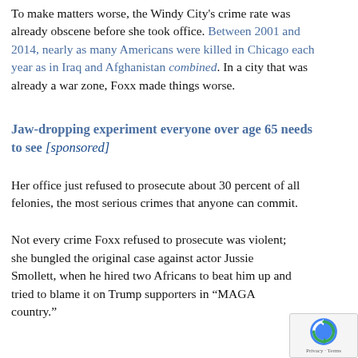To make matters worse, the Windy City's crime rate was already obscene before she took office. Between 2001 and 2014, nearly as many Americans were killed in Chicago each year as in Iraq and Afghanistan combined. In a city that was already a war zone, Foxx made things worse.
Jaw-dropping experiment everyone over age 65 needs to see [sponsored]
Her office just refused to prosecute about 30 percent of all felonies, the most serious crimes that anyone can commit.
Not every crime Foxx refused to prosecute was violent; she bungled the original case against actor Jussie Smollett, when he hired two Africans to beat him up and tried to blame it on Trump supporters in “MAGA country.”